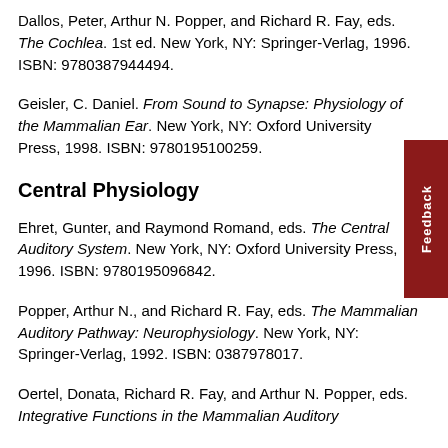Dallos, Peter, Arthur N. Popper, and Richard R. Fay, eds. The Cochlea. 1st ed. New York, NY: Springer-Verlag, 1996. ISBN: 9780387944494.
Geisler, C. Daniel. From Sound to Synapse: Physiology of the Mammalian Ear. New York, NY: Oxford University Press, 1998. ISBN: 9780195100259.
Central Physiology
Ehret, Gunter, and Raymond Romand, eds. The Central Auditory System. New York, NY: Oxford University Press, 1996. ISBN: 9780195096842.
Popper, Arthur N., and Richard R. Fay, eds. The Mammalian Auditory Pathway: Neurophysiology. New York, NY: Springer-Verlag, 1992. ISBN: 0387978017.
Oertel, Donata, Richard R. Fay, and Arthur N. Popper, eds. Integrative Functions in the Mammalian Auditory